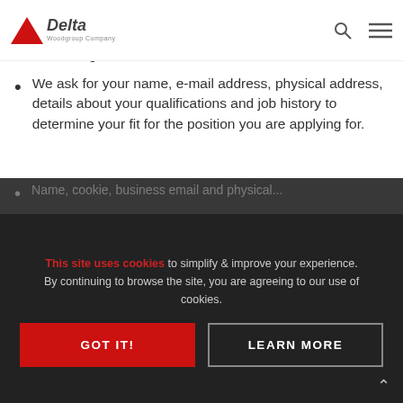Delta Woodgroup Company — navigation bar with logo, search, and menu icons
you directly, as well as how often you want to receive news and updates related to the Partner Forum you belong to.
We ask for your name, e-mail address, physical address, details about your qualifications and job history to determine your fit for the position you are applying for.
We automatically collect Personal Data in our server logs when you use our services. The Personal Data we collect includes:
Name, cookie, business email and physical... [partially visible behind overlay]
This site uses cookies to simplify & improve your experience. By continuing to browse the site, you are agreeing to our use of cookies.
GOT IT!
LEARN MORE